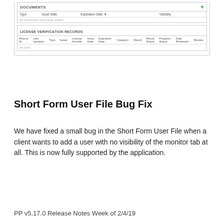[Figure (screenshot): Screenshot of a web application showing DOCUMENTS and LICENSE VERIFICATION RECORDS sections. DOCUMENTS section has columns: Type, Issue Date, Expiration Date, Visibility, with 'No documents have been added.' message. LICENSE VERIFICATION RECORDS section has columns: Record ID, Last Updated, Type, Issuer, License Number, Issue Date, Expiration Date, Category, Result, Result Status, Progress Status, Date Reviewed, Review, with 'No Data' message.]
Short Form User File Bug Fix
We have fixed a small bug in the Short Form User File when a client wants to add a user with no visibility of the monitor tab at all.  This is now fully supported by the application.
PP v5.17.0 Release Notes Week of 2/4/19